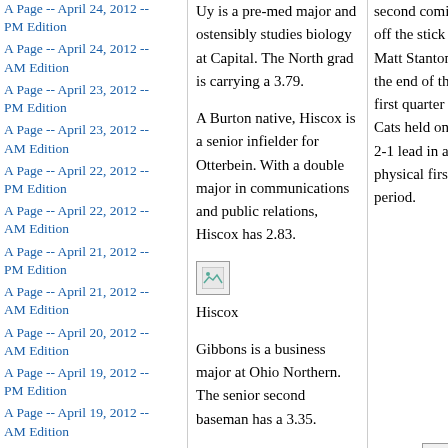A Page -- April 24, 2012 -- PM Edition
A Page -- April 24, 2012 -- AM Edition
A Page -- April 23, 2012 -- PM Edition
A Page -- April 23, 2012 -- AM Edition
A Page -- April 22, 2012 -- PM Edition
A Page -- April 22, 2012 -- AM Edition
A Page -- April 21, 2012 -- PM Edition
A Page -- April 21, 2012 -- AM Edition
A Page -- April 20, 2012 -- AM Edition
A Page -- April 19, 2012 -- PM Edition
A Page -- April 19, 2012 -- AM Edition
A Page -- April 18, 2012 -- PM Edition
A Page -- April 18, 2012 --
Uy is a pre-med major and ostensibly studies biology at Capital. The North grad is carrying a 3.79.
A Burton native, Hiscox is a senior infielder for Otterbein. With a double major in communications and public relations, Hiscox has 2.83.
[Figure (photo): Small image placeholder for Hiscox photo]
Hiscox
Gibbons is a business major at Ohio Northern. The senior second baseman has a 3.35.
second coming off the stick of Matt Stanton.  At the end of the first quarter the Cats held onto a 2-1 lead in a physical first period.
[Figure (photo): Small image placeholder in right column]